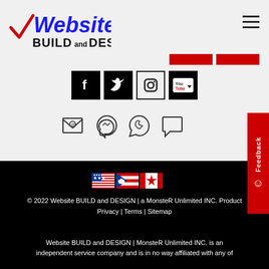[Figure (logo): Website BUILD and DESIGN logo with checkmark]
[Figure (infographic): Social media icons: Facebook, Twitter, Instagram, YouTube]
[Figure (infographic): Contact icons: Email, Messenger, WhatsApp, Chat]
[Figure (infographic): Country flags: USA, Puerto Rico, Canada]
© 2022 Website BUILD and DESIGN | a MonsteR Unlimited INC. Product | Privacy | Terms | Sitemap
Website BUILD and DESIGN | MonsteR Unlimited INC. is an independent service company and is in no way affiliated with any of